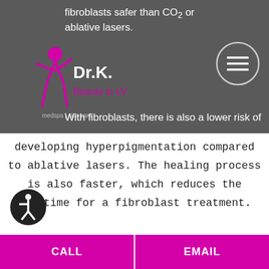fibroblasts safer than CO2 or ablative lasers.
[Figure (logo): Dr. K. Beauty in LV logo with pink figure]
[Figure (other): Hamburger menu button inside a circle]
With fibroblasts, there is also a lower risk of developing hyperpigmentation compared to ablative lasers. The healing process is also faster, which reduces the downtime for a fibroblast treatment.
Lastly, the effects of a fibroblast last up to 3 years and have less sunshine sensitivity.
[Figure (other): Accessibility icon - person in circle]
CALL | EMAIL